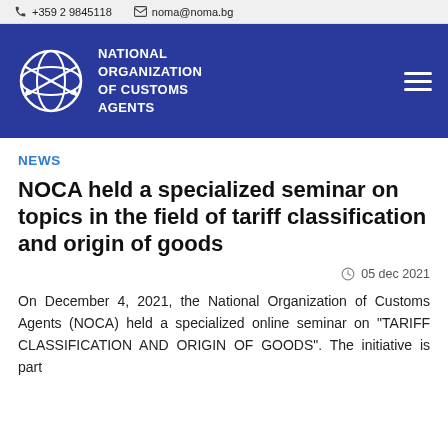+359 2 9845118   noma@noma.bg
[Figure (logo): National Organization of Customs Agents logo — white globe with arrows on blue background, with text 'NATIONAL ORGANIZATION OF CUSTOMS AGENTS']
NEWS
NOCA held a specialized seminar on topics in the field of tariff classification and origin of goods
05 dec 2021
On December 4, 2021, the National Organization of Customs Agents (NOCA) held a specialized online seminar on "TARIFF CLASSIFICATION AND ORIGIN OF GOODS". The initiative is part